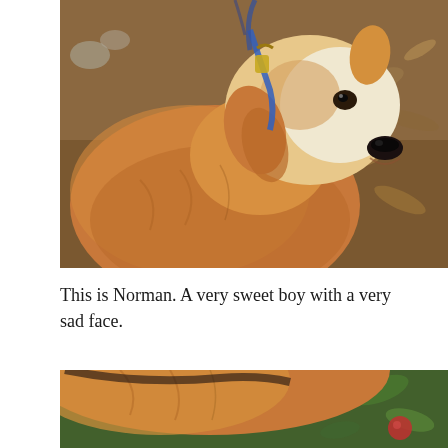[Figure (photo): A golden retriever dog named Norman, an older dog with a white/cream face and golden fur, wearing a blue leash with a gold clip. The dog is sitting and looking to the right with a sad expression. Background shows dry leaves and dirt ground.]
This is Norman. A very sweet boy with a very sad face.
[Figure (photo): Partial view of a golden retriever dog (Norman), showing the back/top of the dog's golden fur coat with green foliage visible in the background and a red object partially visible.]